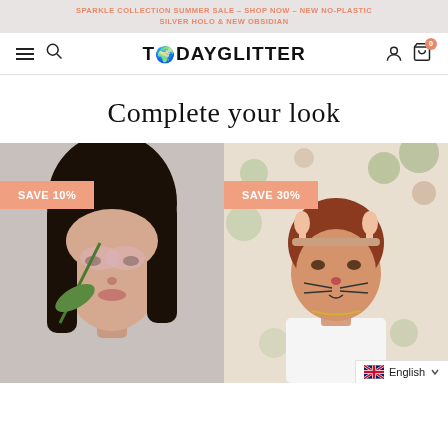SPARKLE COLLECTION SUMMER SALE – SHOP NOW – NEW NO-PLASTIC SILVER HOLO & NEW OBSIDIAN
TODAYGLITTER
Complete your look
[Figure (photo): Young woman with glitter on her face holding a plant leaf, with a salmon-colored 'SAVE 10%' badge overlay]
[Figure (photo): Young girl dressed as a cat with cat ears headband and cat face makeup, with a salmon-colored 'SAVE 30%' badge overlay, floral wallpaper background]
English